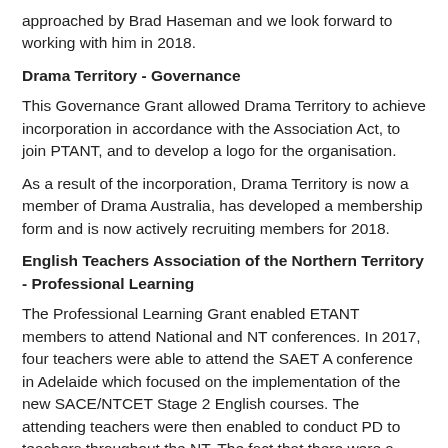approached by Brad Haseman and we look forward to working with him in 2018.
Drama Territory - Governance
This Governance Grant allowed Drama Territory to achieve incorporation in accordance with the Association Act, to join PTANT, and to develop a logo for the organisation.
As a result of the incorporation, Drama Territory is now a member of Drama Australia, has developed a membership form and is now actively recruiting members for 2018.
English Teachers Association of the Northern Territory - Professional Learning
The Professional Learning Grant enabled ETANT members to attend National and NT conferences. In 2017, four teachers were able to attend the SAET A conference in Adelaide which focused on the implementation of the new SACE/NTCET Stage 2 English courses. The attending teachers were then enabled to conduct PD to teachers throughout the NT. The fact that there were a